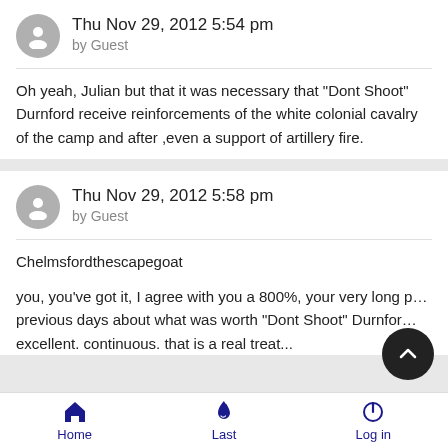Thu Nov 29, 2012 5:54 pm
by Guest
Oh yeah, Julian but that it was necessary that "Dont Shoot" Durnford receive reinforcements of the white colonial cavalry of the camp and after ,even a support of artillery fire.
Thu Nov 29, 2012 5:58 pm
by Guest
Chelmsfordthescapegoat
you, you've got it, I agree with you a 800%, your very long p… previous days about what was worth "Dont Shoot" Durnfor… excellent. continuous. that is a real treat...
Home    Last    Log in